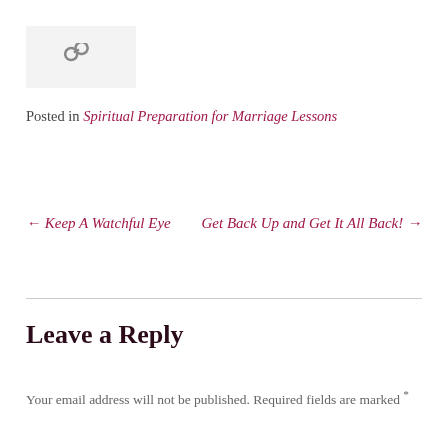[Figure (other): Small grey box with a chain link icon]
Posted in Spiritual Preparation for Marriage Lessons
← Keep A Watchful Eye    Get Back Up and Get It All Back! →
Leave a Reply
Your email address will not be published. Required fields are marked *